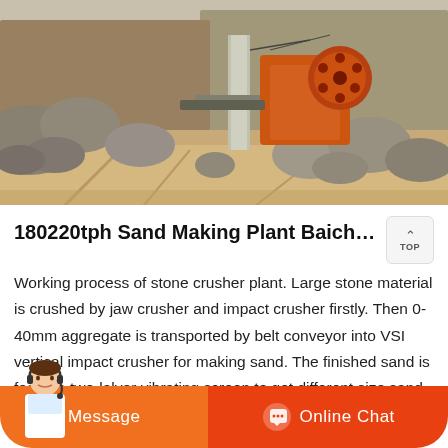[Figure (photo): Outdoor quarry/mining site showing large rocks and boulders, an orange jaw crusher machine with flywheel visible, dust and rubble on the ground, rocky hillside in background.]
180220tph Sand Making Plant Baichy Machinerysto
Working process of stone crusher plant. Large stone material is crushed by jaw crusher and impact crusher firstly. Then 0-40mm aggregate is transported by belt conveyor into VSI vertical impact crusher for making sand. The finished sand is fed to a two-lalyer vibrating screen to get different size sand.